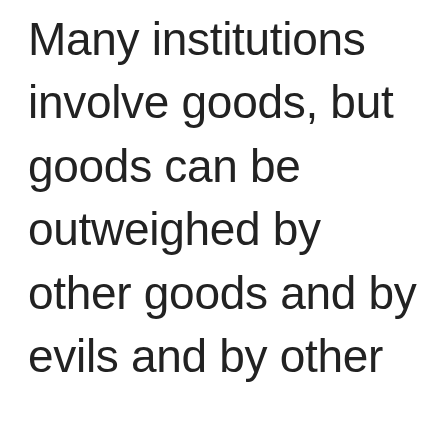Many institutions involve goods, but goods can be outweighed by other goods and by evils and by other